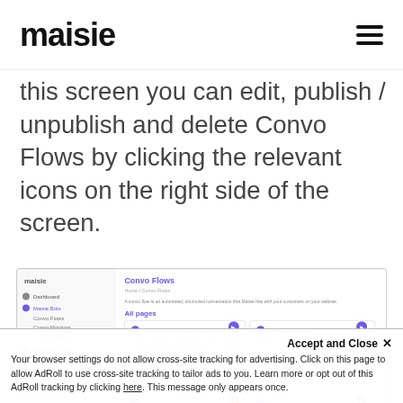maisie [logo] [hamburger menu]
this screen you can edit, publish / unpublish and delete Convo Flows by clicking the relevant icons on the right side of the screen.
[Figure (screenshot): Screenshot of Maisie app interface showing Convo Flows dashboard with All pages and Homepage Flows sections]
Accept and Close ✕ Your browser settings do not allow cross-site tracking for advertising. Click on this page to allow AdRoll to use cross-site tracking to tailor ads to you. Learn more or opt out of this AdRoll tracking by clicking here. This message only appears once.